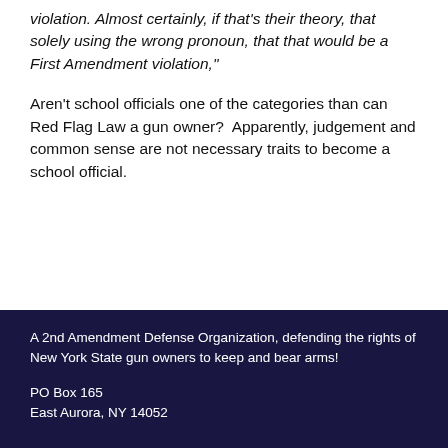violation. Almost certainly, if that's their theory, that solely using the wrong pronoun, that that would be a First Amendment violation,"
Aren't school officials one of the categories than can Red Flag Law a gun owner?  Apparently, judgement and common sense are not necessary traits to become a school official.
A 2nd Amendment Defense Organization, defending the rights of New York State gun owners to keep and bear arms!

PO Box 165
East Aurora, NY 14052